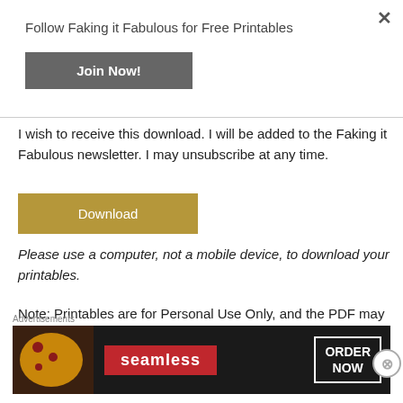Follow Faking it Fabulous for Free Printables
Join Now!
I wish to receive this download. I will be added to the Faking it Fabulous newsletter. I may unsubscribe at any time.
Download
Please use a computer, not a mobile device, to download your printables.
Note: Printables are for Personal Use Only, and the PDF may not be sold, distributed, or posted on other websites. If you wish to share this project, please link to this page. Happy
Advertisements
[Figure (other): Seamless food delivery advertisement banner with pizza image, Seamless logo in red, and ORDER NOW button]